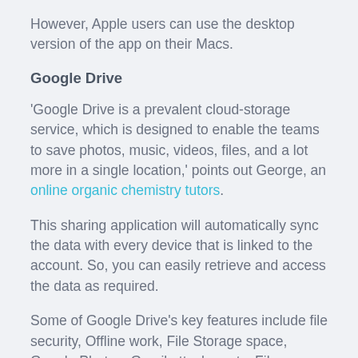However, Apple users can use the desktop version of the app on their Macs.
Google Drive
'Google Drive is a prevalent cloud-storage service, which is designed to enable the teams to save photos, music, videos, files, and a lot more in a single location,' points out George, an online organic chemistry tutors.
This sharing application will automatically sync the data with every device that is linked to the account. So, you can easily retrieve and access the data as required.
Some of Google Drive's key features include file security, Offline work, File Storage space, Google Photos, Gmail attachments, File Sharing, File Search, Integrations, Chromebook Compatibility, and Document scanning. In the free version, you get 15 GB